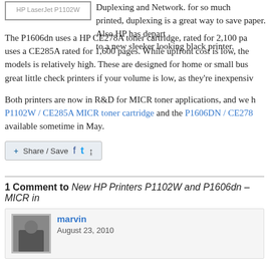[Figure (other): HP LaserJet P1102W printer label/image thumbnail at top left]
Duplexing and Network. for so much printed, duplexing is a great way to save paper. Also HP has departed to a new sleeker looking black printer.
The P1606dn uses a HP CE278A toner cartridge, rated for 2,100 pages uses a CE285A rated for 1,600 pages. While upfront cost is low, the models is relatively high. These are designed for home or small business great little check printers if your volume is low, as they're inexpensively
Both printers are now in R&D for MICR toner applications, and we h P1102W / CE285A MICR toner cartridge and the P1606DN / CE278 available sometime in May.
[Figure (other): Share/Save social sharing button bar with Facebook, Twitter, and share icons]
1 Comment to New HP Printers P1102W and P1606dn – MICR in
marvin
August 23, 2010